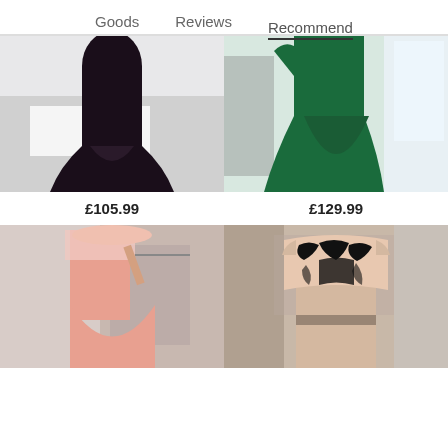Goods    Reviews    Recommend
[Figure (photo): Black mermaid/fishtail formal gown displayed in a bedroom setting]
£105.99
[Figure (photo): Emerald green floor-length formal gown worn by a woman in a bright room]
£129.99
[Figure (photo): Pink off-shoulder lace bodice bodycon dress, selfie in a boutique mirror]
[Figure (photo): Nude/blush off-shoulder dress with black lace appliqué bodice, worn in a boutique]